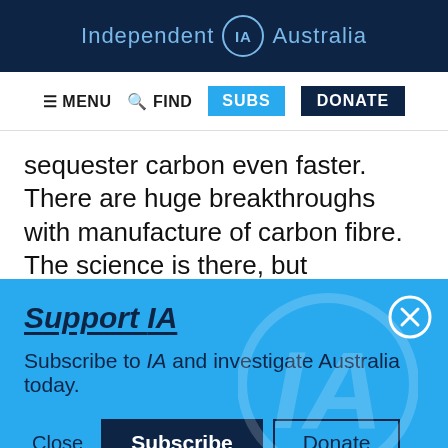Independent IA Australia
≡ MENU  🔍 FIND  SUBS  DONATE
sequester carbon even faster. There are huge breakthroughs with manufacture of carbon fibre. The science is there, but governments need to provide back-up by issuing tax credits
Support IA
Subscribe to IA and investigate Australia today.
Close  Subscribe  Donate
Twitter  Facebook  LinkedIn  Flipboard  Share  More